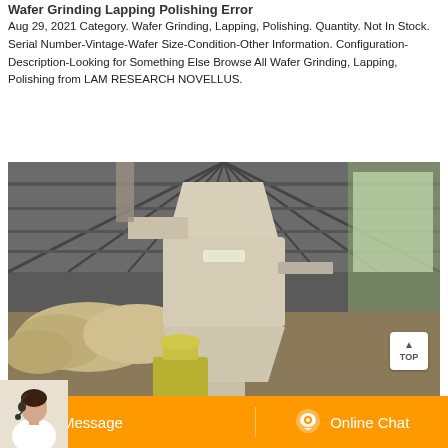Wafer Grinding Lapping Polishing Error
Aug 29, 2021 Category. Wafer Grinding, Lapping, Polishing. Quantity. Not In Stock. Serial Number-Vintage-Wafer Size-Condition-Other Information. Configuration-Description-Looking for Something Else Browse All Wafer Grinding, Lapping, Polishing from LAM RESEARCH NOVELLUS.
[Figure (photo): Industrial grinding/milling machine inside a warehouse facility. A large cream-colored cyclone separator and mill equipment is visible with piles of raw material in the background. Natural light comes from side windows.]